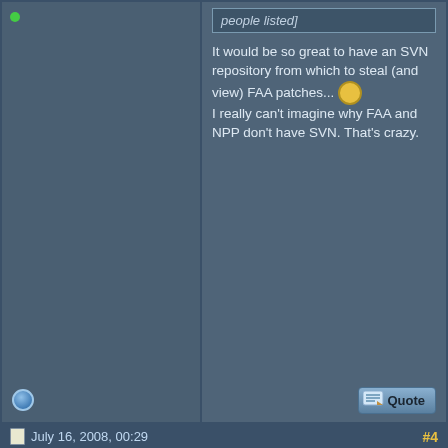[people listed]
It would be so great to have an SVN repository from which to steal (and view) FAA patches... I really can't imagine why FAA and NPP don't have SVN. That's crazy.
July 16, 2008, 00:29
#4
Donald Jonker
Knight
Join Date: Jun 2008
Posts: 593
I'm not sure if this has been covered, but:

The tunneling crash still happens, but *only* (as far as I can tell) when you've attempted (fruitlessly) to increase/decrease the tile width or height.

By the way, is there any chance of making the tile increase/decrease work sometime in the future? I'd like to find a happy medium between single and double tile mode for the gervais set.